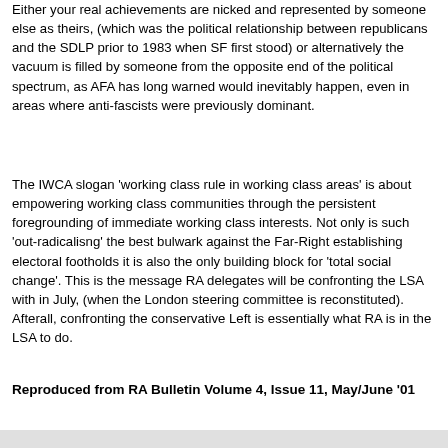Either your real achievements are nicked and represented by someone else as theirs, (which was the political relationship between republicans and the SDLP prior to 1983 when SF first stood) or alternatively the vacuum is filled by someone from the opposite end of the political spectrum, as AFA has long warned would inevitably happen, even in areas where anti-fascists were previously dominant.
The IWCA slogan 'working class rule in working class areas' is about empowering working class communities through the persistent foregrounding of immediate working class interests. Not only is such 'out-radicalisng' the best bulwark against the Far-Right establishing electoral footholds it is also the only building block for 'total social change'. This is the message RA delegates will be confronting the LSA with in July, (when the London steering committee is reconstituted). Afterall, confronting the conservative Left is essentially what RA is in the LSA to do.
Reproduced from RA Bulletin Volume 4, Issue 11, May/June '01